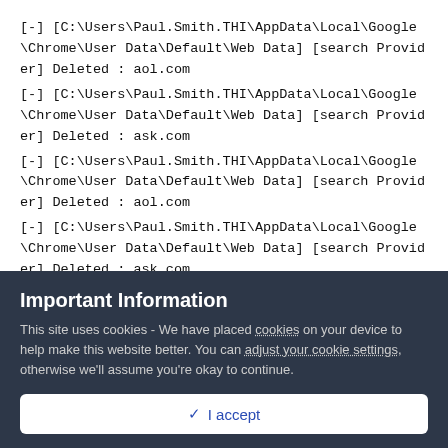[-] [C:\Users\Paul.Smith.THI\AppData\Local\Google\Chrome\User Data\Default\Web Data] [search Provider] Deleted : aol.com
[-] [C:\Users\Paul.Smith.THI\AppData\Local\Google\Chrome\User Data\Default\Web Data] [search Provider] Deleted : ask.com
[-] [C:\Users\Paul.Smith.THI\AppData\Local\Google\Chrome\User Data\Default\Web Data] [search Provider] Deleted : aol.com
[-] [C:\Users\Paul.Smith.THI\AppData\Local\Google\Chrome\User Data\Default\Web Data] [search Provider] Deleted : ask.com
************************
:: "Tracing" keys removed
Important Information
This site uses cookies - We have placed cookies on your device to help make this website better. You can adjust your cookie settings, otherwise we'll assume you're okay to continue.
✓  I accept